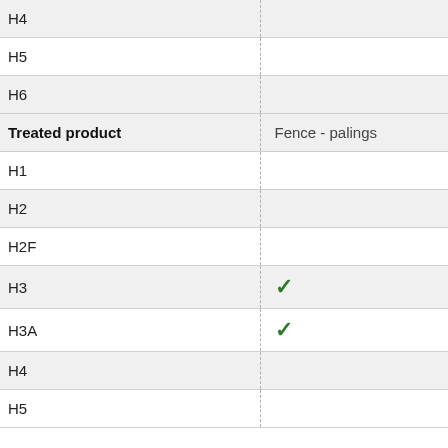| Treated product | Fence - palings |
| --- | --- |
| H4 |  |
| H5 |  |
| H6 |  |
| Treated product | Fence - palings |
| H1 |  |
| H2 |  |
| H2F |  |
| H3 | ✓ |
| H3A | ✓ |
| H4 |  |
| H5 |  |